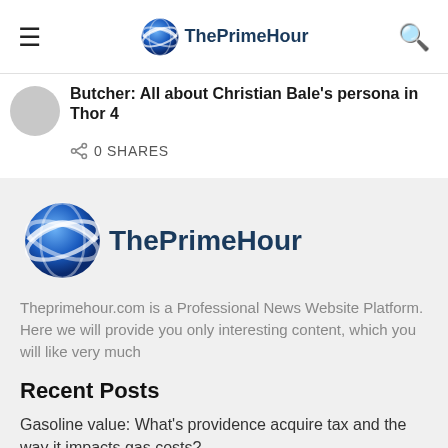ThePrimeHour
Butcher: All about Christian Bale's persona in Thor 4
0 SHARES
[Figure (logo): ThePrimeHour globe logo large with site name]
Theprimehour.com is a Professional News Website Platform. Here we will provide you only interesting content, which you will like very much
Recent Posts
Gasoline value: What's providence acquire tax and the way it impacts gas costs?